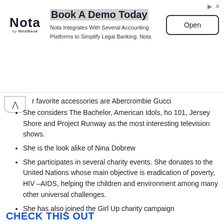[Figure (other): Advertisement banner for Nota banking software. Shows Nota logo, headline 'Book A Demo Today', description 'Nota Integrates With Several Accounting Platforms to Simplify Legal Banking. Nota', and an Open button.]
r favorite accessories are Abercrombie Gucci
She considers The Bachelor, American Idols, ho 101, Jersey Shore and Project Runway as the most interesting television shows.
She is the look alike of Nina Dobrew
She participates in several charity events. She donates to the United Nations whose main objective is eradication of poverty, HIV –AIDS, helping the children and environment among many other universal challenges.
She has also joined the Girl Up charity campaign
CHECK THIS OUT